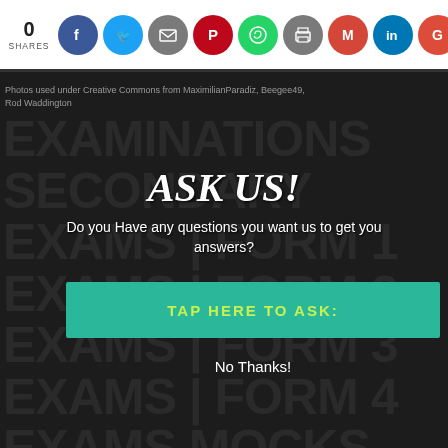0 SHARES — social share icons (Facebook, Twitter, Email, Pinterest, WhatsApp, Print, Gmail, LinkedIn, Google)
Photos used under Creative Commons from MaximilianParadiz, Beegee49, Rod Waddington
EXAMINATIONS SECONDARY EXAMS | FORM 1 EXAMS | FORM 2 EXAMS | FORM 3 EXAMS | FORM 4 EXAMS,MOCKS, ASSESSMENT TEST CHEMISTRY EXAMS | PHYSICS EXAMS | MATHEMATICS EXAMS | ENGLISH EXAMS | KISWAHILI EXAMS | REVISION | PAPERS
ASK US!
Do you Have any questions you want us to get you answers?
TAP HERE TO ASK:
No Thanks!